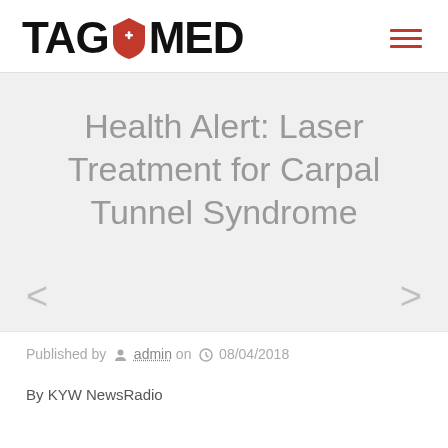[Figure (logo): TAGOMED logo with red shield icon containing a white cross, black bold text]
Health Alert: Laser Treatment for Carpal Tunnel Syndrome
Published by admin on 08/04/2018
By KYW NewsRadio